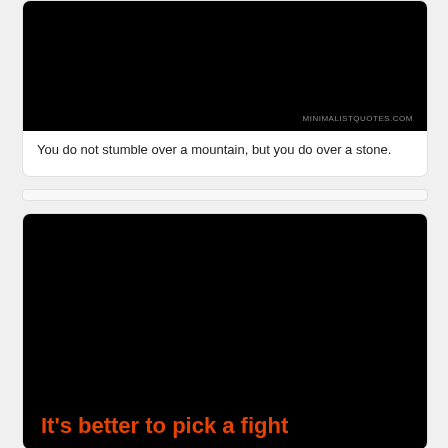[Figure (illustration): Black background image card from minimalistquotes.com with watermark text]
You do not stumble over a mountain, but you do over a stone.
[Figure (illustration): Black background image card with orange bold text beginning: It's better to pick a fight]
It's better to pick a fight